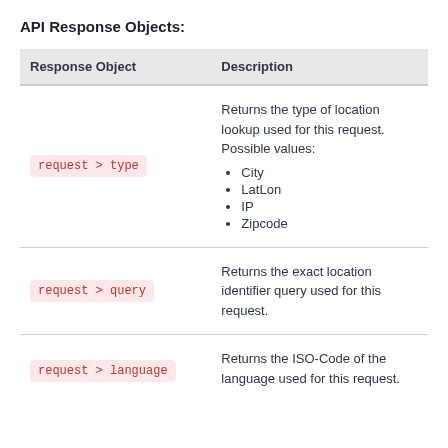API Response Objects:
| Response Object | Description |
| --- | --- |
| request > type | Returns the type of location lookup used for this request. Possible values:
• City
• LatLon
• IP
• Zipcode |
| request > query | Returns the exact location identifier query used for this request. |
| request > language | Returns the ISO-Code of the language used for this request. |